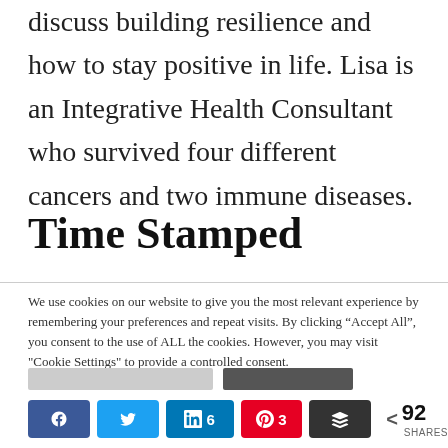discuss building resilience and how to stay positive in life. Lisa is an Integrative Health Consultant who survived four different cancers and two immune diseases.
Time Stamped
We use cookies on our website to give you the most relevant experience by remembering your preferences and repeat visits. By clicking “Accept All”, you consent to the use of ALL the cookies. However, you may visit "Cookie Settings" to provide a controlled consent.
[Figure (other): Social share buttons row: Facebook, Twitter, LinkedIn (6), Pinterest (3), Buffer, and share count showing < 92 SHARES]